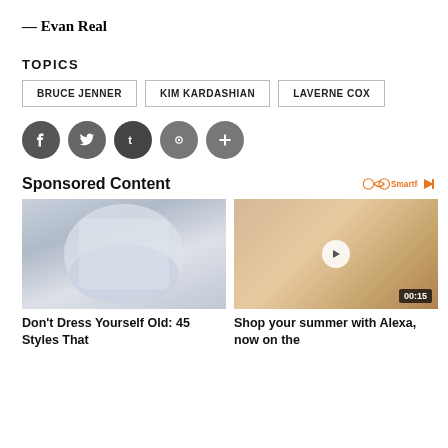— Evan Real
TOPICS
BRUCE JENNER
KIM KARDASHIAN
LAVERNE COX
[Figure (other): Social media share buttons: Facebook, Twitter, Tumblr, Pinterest, More]
Sponsored Content
[Figure (photo): Person in white pants from behind]
Don't Dress Yourself Old: 45 Styles That
[Figure (screenshot): Hand holding a phone showing shopping app with video play button and 00:15 timer]
Shop your summer with Alexa, now on the